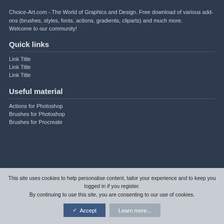Choice-Art.com - The World of Graphics and Design. Free download of various add-ons (brushes, styles, fonts, actions, gradients, cliparts) and much more.
Welcome to our community!
Quick links
Link Title
Link Title
Link Title
Useful material
Actions for Photoshop
Brushes for Photoshop
Brushes for Procreate
This site uses cookies to help personalise content, tailor your experience and to keep you logged in if you register.
By continuing to use this site, you are consenting to our use of cookies.